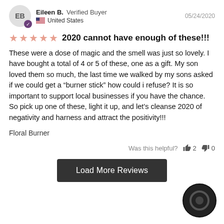Eileen B. Verified Buyer  05/24/2020  United States
2020 cannot have enough of these!!!
These were a dose of magic and the smell was just so lovely. I have bought a total of 4 or 5 of these, one as a gift. My son loved them so much, the last time we walked by my sons asked if we could get a “burner stick” how could i refuse? It is so important to support local businesses if you have the chance. So pick up one of these, light it up, and let’s cleanse 2020 of negativity and harness and attract the positivity!!!
Floral Burner
Was this helpful?  👍 2  👎 0
Load More Reviews